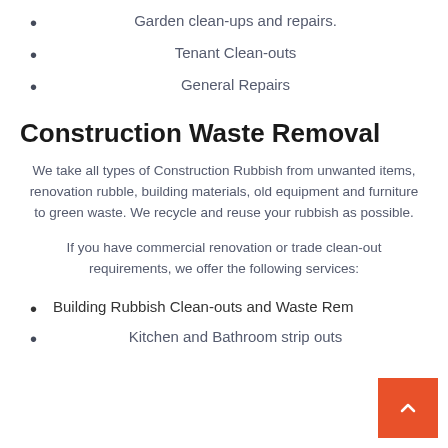Garden clean-ups and repairs.
Tenant Clean-outs
General Repairs
Construction Waste Removal
We take all types of Construction Rubbish from unwanted items, renovation rubble, building materials, old equipment and furniture to green waste. We recycle and reuse your rubbish as possible.
If you have commercial renovation or trade clean-out requirements, we offer the following services:
Building Rubbish Clean-outs and Waste Rem…
Kitchen and Bathroom strip outs